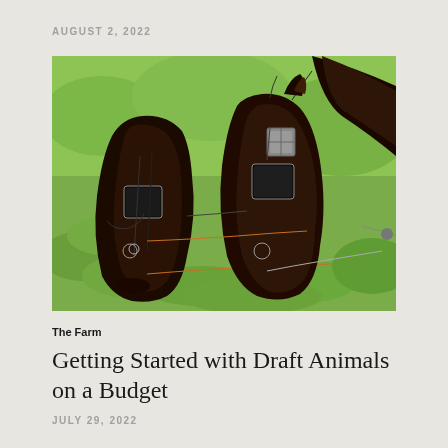AUGUST 2, 2022
[Figure (photo): Two dark brown draft horses wearing harnesses and blinders, photographed close-up against a green leafy background. Orange and metal harness details visible.]
The Farm
Getting Started with Draft Animals on a Budget
JULY 29, 2022